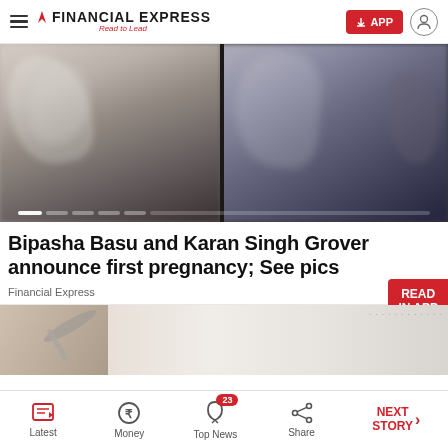FINANCIAL EXPRESS — Read to Lead
[Figure (photo): Two side-by-side blurred photos of Bipasha Basu and Karan Singh Grover in an intimate pose, separated by a dark divider, with slideshow navigation dots at the bottom]
Bipasha Basu and Karan Singh Grover announce first pregnancy; See pics
Financial Express
[Figure (photo): Close-up photo of a spoon scooping powder or granules from a surface]
Latest | Money | Top News (23) | Share | NEXT STORY →